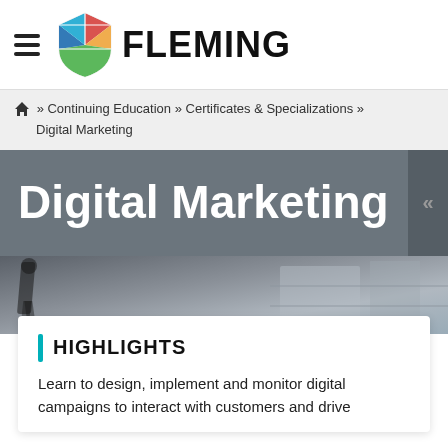[Figure (logo): Fleming College logo: colorful shield with blue, red, orange, green sections, beside bold text 'FLEMING']
≡  FLEMING
🏠 » Continuing Education » Certificates & Specializations » Digital Marketing
Digital Marketing
[Figure (photo): Blurred photo of a person walking past a concrete wall, dark/muted tones]
HIGHLIGHTS
Learn to design, implement and monitor digital campaigns to interact with customers and drive